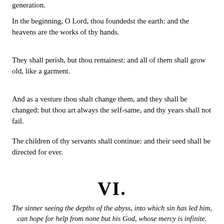generation.
In the beginning, O Lord, thou foundedst the earth: and the heavens are the works of thy hands.
They shall perish, but thou remainest: and all of them shall grow old, like a garment.
And as a vesture thou shalt change them, and they shall be changed: but thou art always the self-same, and thy years shall not fail.
The children of thy servants shall continue: and their seed shall be directed for ever.
VI.
The sinner seeing the depths of the abyss, into which sin has led him, can hope for help from none but his God, whose mercy is infinite.